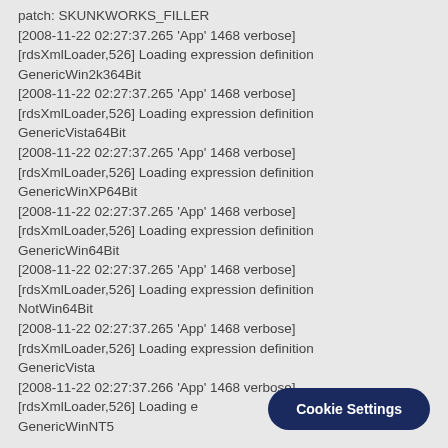patch: SKUNKWORKS_FILLER
[2008-11-22 02:27:37.265 'App' 1468 verbose]
[rdsXmlLoader,526] Loading expression definition GenericWin2k364Bit
[2008-11-22 02:27:37.265 'App' 1468 verbose]
[rdsXmlLoader,526] Loading expression definition GenericVista64Bit
[2008-11-22 02:27:37.265 'App' 1468 verbose]
[rdsXmlLoader,526] Loading expression definition GenericWinXP64Bit
[2008-11-22 02:27:37.265 'App' 1468 verbose]
[rdsXmlLoader,526] Loading expression definition GenericWin64Bit
[2008-11-22 02:27:37.265 'App' 1468 verbose]
[rdsXmlLoader,526] Loading expression definition NotWin64Bit
[2008-11-22 02:27:37.265 'App' 1468 verbose]
[rdsXmlLoader,526] Loading expression definition GenericVista
[2008-11-22 02:27:37.266 'App' 1468 verbose]
[rdsXmlLoader,526] Loading e
GenericWinNT5
Cookie Settings